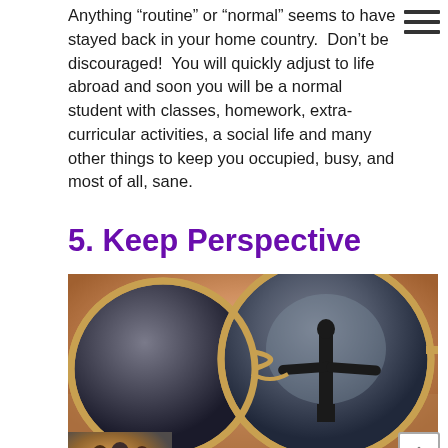Anything “routine” or “normal” seems to have stayed back in your home country.  Don’t be discouraged!  You will quickly adjust to life abroad and soon you will be a normal student with classes, homework, extra-curricular activities, a social life and many other things to keep you occupied, busy, and most of all, sane.
5. Keep Perspective
[Figure (photo): Close-up photo of aviator sunglasses on a person’s face. The reflection in the right lens shows the silhouette of Christ the Redeemer statue.]